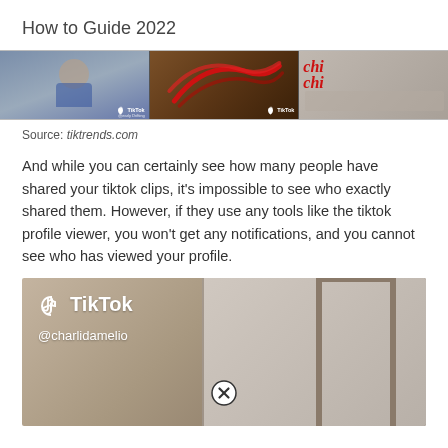How to Guide 2022
[Figure (screenshot): TikTok video strip showing three panels: a person in blue on the left, a video with red swoosh graphics in the middle, and a text/room scene on the right. Each panel has a TikTok watermark.]
Source: tiktrends.com
And while you can certainly see how many people have shared your tiktok clips, it's impossible to see who exactly shared them. However, if they use any tools like the tiktok profile viewer, you won't get any notifications, and you cannot see who has viewed your profile.
[Figure (screenshot): TikTok app screenshot showing the TikTok logo and brand name, username @charlidamelio, a room/hallway background, and a close/exit button at the bottom center.]